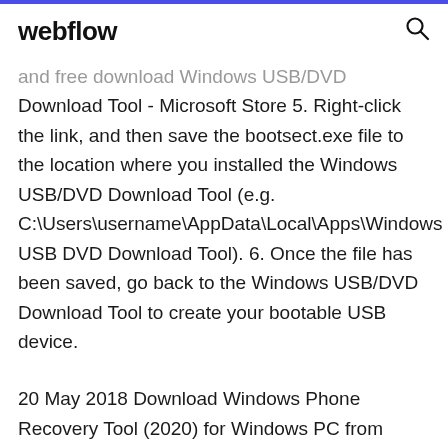webflow
and free download Windows USB/DVD Download Tool - Microsoft Store 5. Right-click the link, and then save the bootsect.exe file to the location where you installed the Windows USB/DVD Download Tool (e.g. C:\Users\username\AppData\Local\Apps\Windows USB DVD Download Tool). 6. Once the file has been saved, go back to the Windows USB/DVD Download Tool to create your bootable USB device.
20 May 2018 Download Windows Phone Recovery Tool (2020) for Windows PC from need to update your OS, and just a short time later run this installer. 25 Feb 2019 Windows